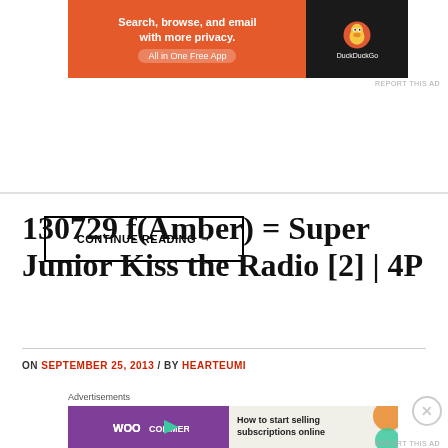[Figure (screenshot): DuckDuckGo advertisement banner with orange background: 'Search, browse, and email with more privacy. All in One Free App' with DuckDuckGo logo on dark right side]
REPORT THIS AD
CONTINUE READING →
130729 f(Amber) = Super Junior Kiss the Radio [2] | 4P
ON SEPTEMBER 25, 2013 / BY HEARTEUMI
Advertisements
[Figure (screenshot): WooCommerce advertisement: 'How to start selling subscriptions online' with purple WooCommerce logo on left]